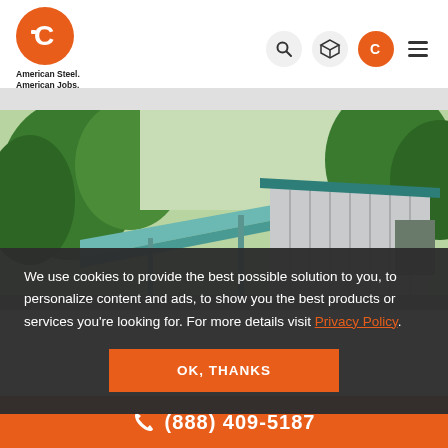[Figure (logo): American Steel Carports logo — orange circle with stylized C, tagline 'American Steel. American Jobs.']
[Figure (photo): Metal carport/building structure with teal/green roof panels and vertical siding, surrounded by green trees]
We use cookies to provide the best possible solution to you, to personalize content and ads, to show you the best products or services you're looking for. For more details visit Privacy Policy.
OK, THANKS
(888) 409-5187